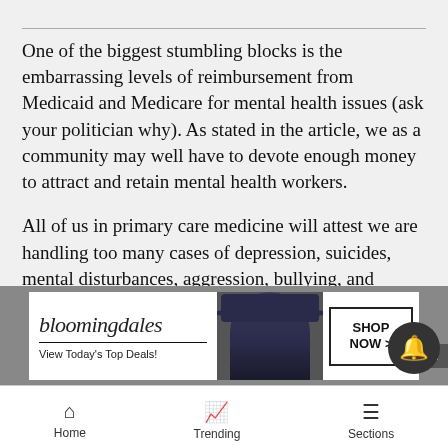One of the biggest stumbling blocks is the embarrassing levels of reimbursement from Medicaid and Medicare for mental health issues (ask your politician why). As stated in the article, we as a community may well have to devote enough money to attract and retain mental health workers.
All of us in primary care medicine will attest we are handling too many cases of depression, suicides, mental disturbances, aggression, bullying, and ostracism with not enough help from professionals who are better at these issues.
[Figure (screenshot): Bloomingdale's advertisement banner: logo, 'View Today's Top Deals!', photo of woman in large hat, 'SHOP NOW >' button]
Home | Trending | Sections